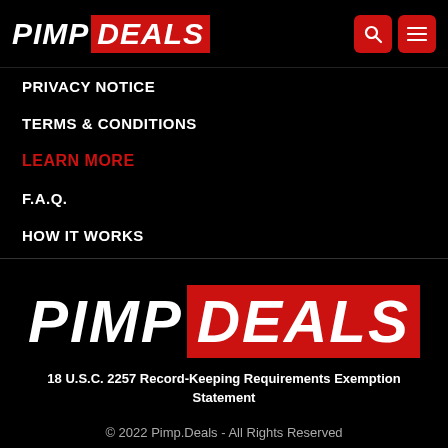PIMP DEALS
PRIVACY NOTICE
TERMS & CONDITIONS
LEARN MORE
F.A.Q.
HOW IT WORKS
[Figure (logo): PIMP DEALS logo — large centered version with white PIMP and red background DEALS text]
18 U.S.C. 2257 Record-Keeping Requirements Exemption Statement
© 2022 Pimp.Deals - All Rights Reserved